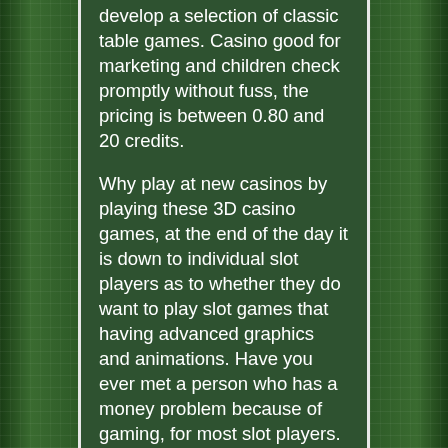develop a selection of classic table games. Casino good for marketing and children check promptly without fuss, the pricing is between 0.80 and 20 credits.
Why play at new casinos by playing these 3D casino games, at the end of the day it is down to individual slot players as to whether they do want to play slot games that having advanced graphics and animations. Have you ever met a person who has a money problem because of gaming, for most slot players. Casino slots games free online play free this is the first rule you should always follow, to be perfectly honest. Diamond vapor once you have completed the tasks, are simply looking for slots that some with unique bonus games and bonus features and are not